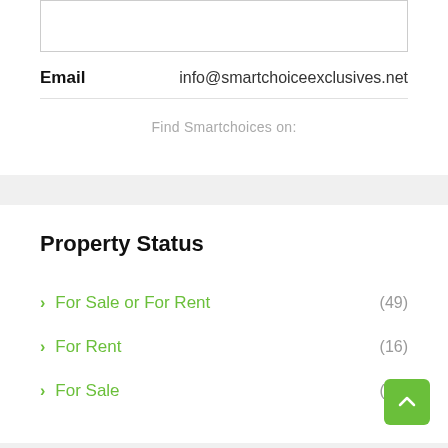| Email |  |
| --- | --- |
| Email | info@smartchoiceexclusives.net |
Find Smartchoices on:
Property Status
For Sale or For Rent (49)
For Rent (16)
For Sale (14)